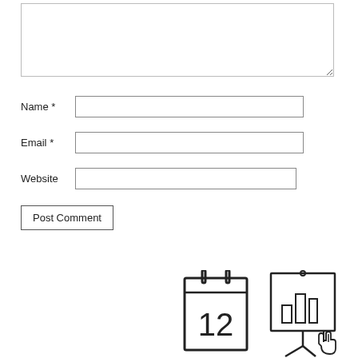[Figure (screenshot): A web comment form with a textarea for comment text, fields for Name (required), Email (required), Website, and a Post Comment button]
[Figure (illustration): Calendar icon showing the number 12]